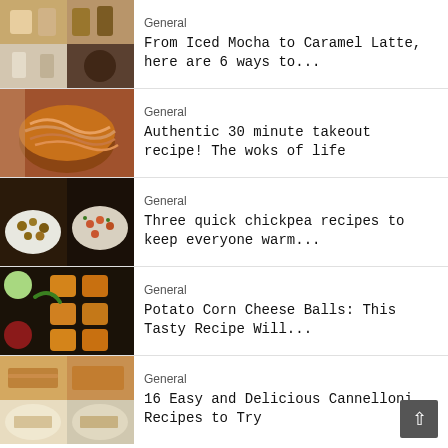[Figure (photo): Collage of iced coffee drinks including iced mocha and caramel latte]
General
From Iced Mocha to Caramel Latte, here are 6 ways to...
[Figure (photo): Bowl of noodles in spicy sauce - Chinese takeout style]
General
Authentic 30 minute takeout recipe! The woks of life
[Figure (photo): Chickpea curry served in bowls with rice]
General
Three quick chickpea recipes to keep everyone warm...
[Figure (photo): Potato corn cheese balls with green chili and dipping sauces]
General
Potato Corn Cheese Balls: This Tasty Recipe Will...
[Figure (photo): Collage of cannelloni dishes]
General
16 Easy and Delicious Cannelloni Recipes to Try